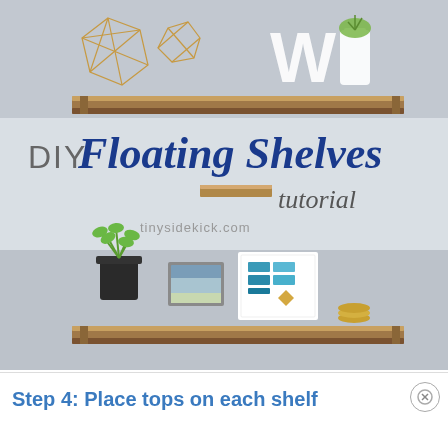[Figure (photo): DIY Floating Shelves tutorial image showing two wooden floating shelves mounted on a light gray wall. Top shelf holds geometric gold wire decorations and a white letter W with a small plant. Middle section shows a banner overlay with text 'DIY Floating Shelves tutorial' and website 'tinysidekick.com'. Bottom shelf holds a small potted plant, a framed beach photo, and a framed teal/geometric art print.]
Step 4: Place tops on each shelf